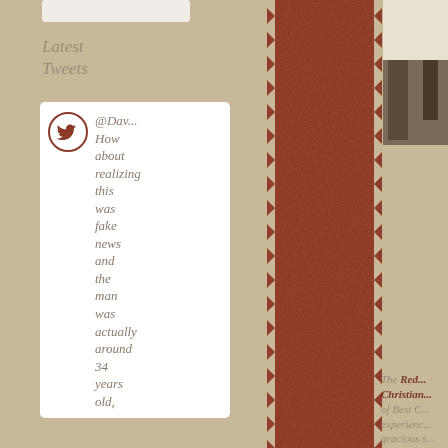[Figure (screenshot): White rounded rectangle box at top of left sidebar]
Latest Tweets
[Figure (screenshot): Tweet card with Twitter bird icon and text: @Dav... How about realizing this was fake news and the man was actually around 34 years old,]
[Figure (photo): Brown leather texture with zigzag/pinked edges running vertically down the center of the page]
[Figure (photo): Partial photo in upper right corner showing what appears to be furniture/outdoor scene]
The Red Christian of Best C experience gracious s
[Figure (photo): Partial photo in lower right corner showing brick wall or textured surface]